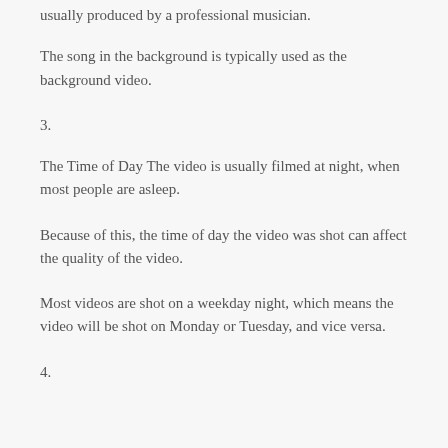usually produced by a professional musician.
The song in the background is typically used as the background video.
3.
The Time of Day The video is usually filmed at night, when most people are asleep.
Because of this, the time of day the video was shot can affect the quality of the video.
Most videos are shot on a weekday night, which means the video will be shot on Monday or Tuesday, and vice versa.
4.